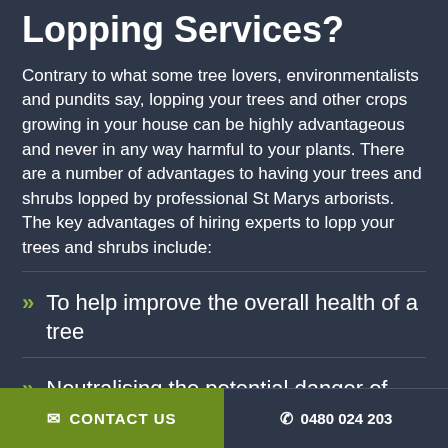Lopping Services?
Contrary to what some tree lovers, environmentalists and pundits say, lopping your trees and other crops growing in your house can be highly advantageous and never in any way harmful to your plants. There are a number of advantages to having your trees and shrubs lopped by professional St Marys arborists. The key advantages of hiring experts to lopp your trees and shrubs include:
To help improve the overall health of a tree
Neutralising the potential danger of getting an unstable tree in your home
CONTACT US  0480 024 203